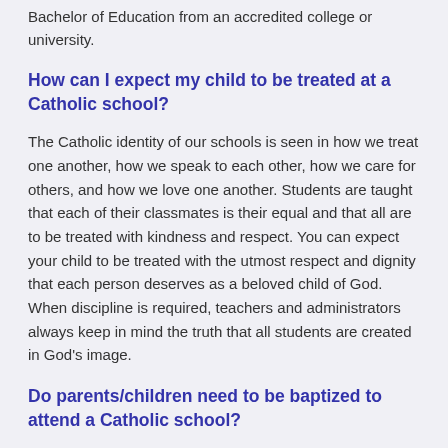Bachelor of Education from an accredited college or university.
How can I expect my child to be treated at a Catholic school?
The Catholic identity of our schools is seen in how we treat one another, how we speak to each other, how we care for others, and how we love one another. Students are taught that each of their classmates is their equal and that all are to be treated with kindness and respect. You can expect your child to be treated with the utmost respect and dignity that each person deserves as a beloved child of God.  When discipline is required, teachers and administrators always keep in mind the truth that all students are created in God's image.
Do parents/children need to be baptized to attend a Catholic school?